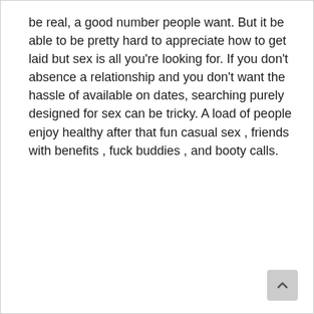be real, a good number people want. But it be able to be pretty hard to appreciate how to get laid but sex is all you're looking for. If you don't absence a relationship and you don't want the hassle of available on dates, searching purely designed for sex can be tricky. A load of people enjoy healthy after that fun casual sex , friends with benefits , fuck buddies , and booty calls.